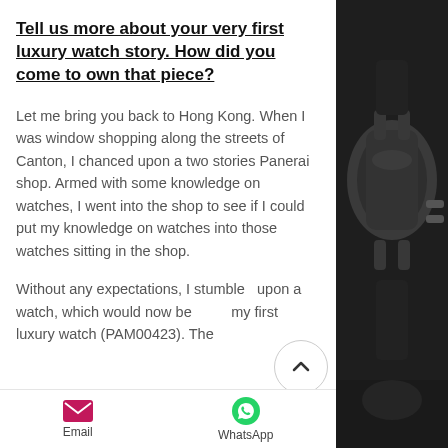Tell us more about your very first luxury watch story. How did you come to own that piece?
Let me bring you back to Hong Kong. When I was window shopping along the streets of Canton, I chanced upon a two stories Panerai shop. Armed with some knowledge on watches, I went into the shop to see if I could put my knowledge on watches into those watches sitting in the shop.
Without any expectations, I stumbled upon a watch, which would now be my first luxury watch (PAM00423). The
[Figure (photo): Close-up dark photo of a luxury watch, showing dark metallic case details and crown/pusher elements against a dark background]
Email   WhatsApp